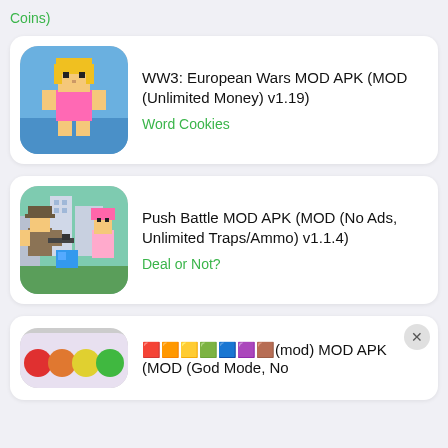Coins)
[Figure (illustration): WW3 European Wars game icon showing a blocky female character in pink swimwear against a blue background]
WW3: European Wars MOD APK (MOD (Unlimited Money) v1.19)
Word Cookies
[Figure (illustration): Push Battle game icon showing blocky characters with weapons in an urban setting]
Push Battle MOD APK (MOD (No Ads, Unlimited Traps/Ammo) v1.1.4)
Deal or Not?
[Figure (illustration): Partial game icon showing colorful items]
🟥🟧🟨🟩🟦🟪🟫(mod) MOD APK (MOD (God Mode, No